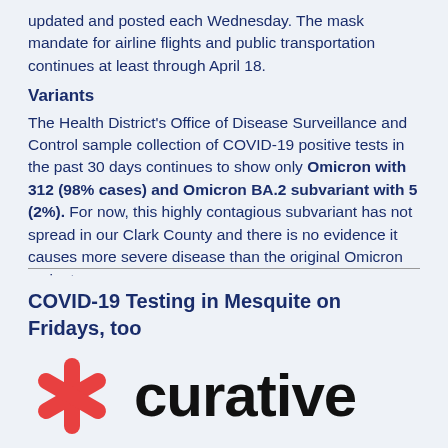updated and posted each Wednesday. The mask mandate for airline flights and public transportation continues at least through April 18.
Variants
The Health District's Office of Disease Surveillance and Control sample collection of COVID-19 positive tests in the past 30 days continues to show only Omicron with 312 (98% cases) and Omicron BA.2 subvariant with 5 (2%). For now, this highly contagious subvariant has not spread in our Clark County and there is no evidence it causes more severe disease than the original Omicron variant.
COVID-19 Testing in Mesquite on Fridays, too
[Figure (logo): Curative logo: red asterisk symbol next to the word 'curative' in bold black text]